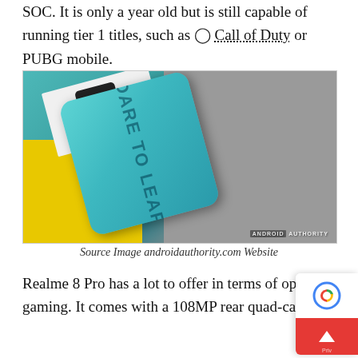SOC. It is only a year old but is still capable of running tier 1 titles, such as ◯ Call of Duty or PUBG mobile.
[Figure (photo): Back of a Realme 8 Pro smartphone in blue-green color with 'DARE TO LEAP' text, quad-camera bump visible, placed on yellow surface with gravel background. Android Authority watermark in bottom right.]
Source Image androidauthority.com Website
Realme 8 Pro has a lot to offer in terms of optics gaming. It comes with a 108MP rear quad-camer...